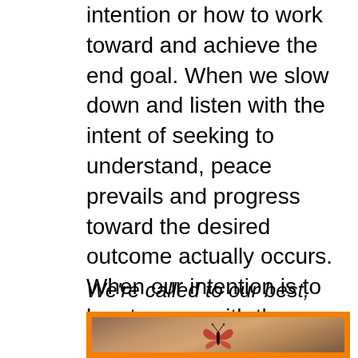intention or how to work toward and achieve the end goal. When we slow down and listen with the intent of seeking to understand, peace prevails and progress toward the desired outcome actually occurs. When our intention is to be at peace with the people around us, that is the very attitude that abounds. We reap what we sow and harvest what we grow. May we be sowers and growers of peace.
We're called to our best,
[Figure (photo): A butterfly silhouetted against a warm golden-brown background, inside an orange border frame.]